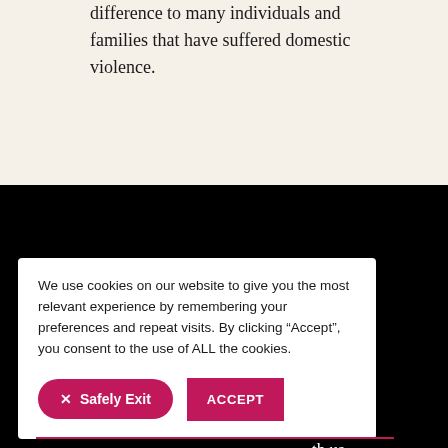difference to many individuals and families that have suffered domestic violence.
If you are a survivor and need our
We use cookies on our website to give you the most relevant experience by remembering your preferences and repeat visits. By clicking “Accept”, you consent to the use of ALL the cookies.
× Safely Exit
ACCEPT